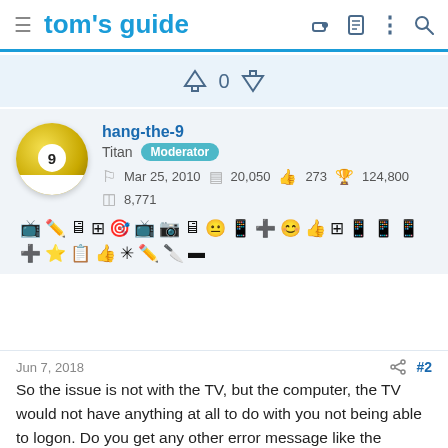tom's guide
0
hang-the-9
Titan Moderator
Mar 25, 2010  20,050  273  124,800
8,771
Jun 7, 2018  #2
So the issue is not with the TV, but the computer, the TV would not have anything at all to do with you not being able to logon. Do you get any other error message like the password or username is